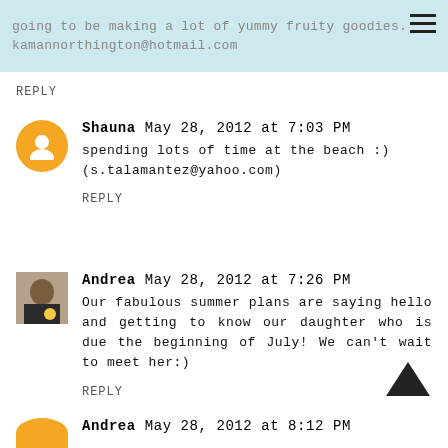going to be making a lot of yummy fruity goodies. kamannorthington@hotmail.com
REPLY
Shauna May 28, 2012 at 7:03 PM
spending lots of time at the beach :) (s.talamantez@yahoo.com)
REPLY
Andrea May 28, 2012 at 7:26 PM
Our fabulous summer plans are saying hello and getting to know our daughter who is due the beginning of July! We can't wait to meet her:)
REPLY
Andrea May 28, 2012 at 8:12 PM